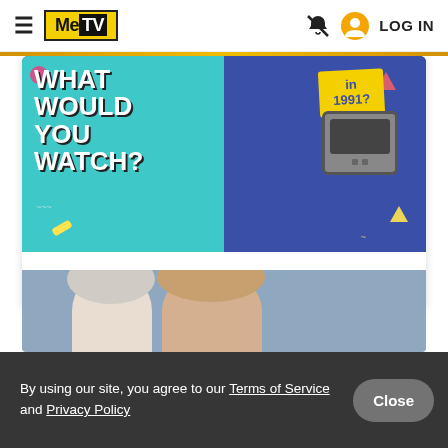MeTV — LOG IN
[Figure (photo): Colorful 1990s-style promotional graphic with text 'What Would You Watch in 1991?' featuring a CRT television on a blue background with geometric shapes]
Pick: What would you watch on TV in 1991?
By using our site, you agree to our Terms of Service and Privacy Policy
[Figure (photo): Two people (man in white suit and tie, woman with brown hair) photographed together against a light blue background]